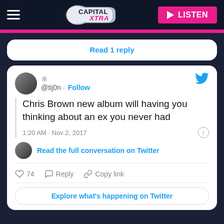[Figure (logo): Capital Xtra radio station logo and navigation header with hamburger menu and LISTEN button]
Read 1 reply
@tij0n · Follow
Chris Brown new album will having you thinking about an ex you never had
1:20 AM · Nov 2, 2017
Read the full conversation on Twitter
74  Reply  Copy link
Explore what's happening on Twitter